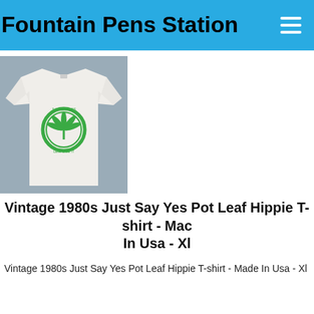Fountain Pens Station
[Figure (photo): White t-shirt with a green circular cannabis leaf logo, laid flat on a gray surface.]
Vintage 1980s Just Say Yes Pot Leaf Hippie T-shirt - Made In Usa - Xl
Vintage 1980s Just Say Yes Pot Leaf Hippie T-shirt - Made In Usa - Xl